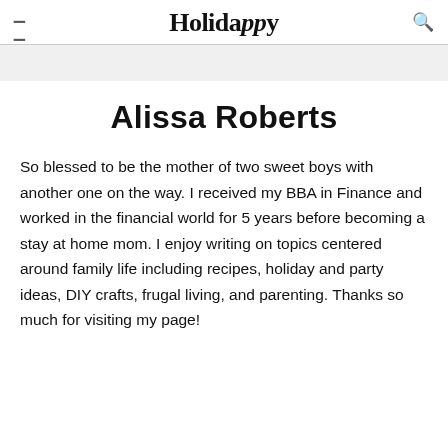Holidappy
Alissa Roberts
So blessed to be the mother of two sweet boys with another one on the way. I received my BBA in Finance and worked in the financial world for 5 years before becoming a stay at home mom. I enjoy writing on topics centered around family life including recipes, holiday and party ideas, DIY crafts, frugal living, and parenting. Thanks so much for visiting my page!